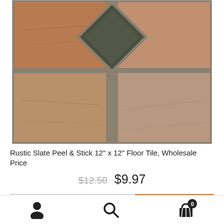[Figure (photo): Rustic slate peel and stick floor tiles arranged in a diamond and square pattern with earthy brown, tan, and dark green/gray colors, separated by grout lines]
Rustic Slate Peel & Stick 12" x 12" Floor Tile, Wholesale Price
$12.50  $9.97
1  Add to cart